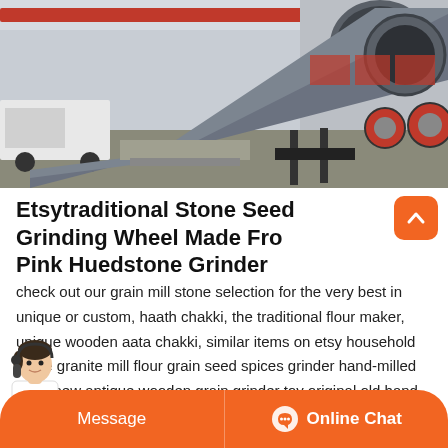[Figure (photo): Industrial factory interior showing a large cylindrical rotary drum/kiln machine in a manufacturing facility. Red crane beam visible overhead, trucks and equipment in background.]
Etsytraditional Stone Seed Grinding Wheel Made Fro Pink Huedstone Grinder
check out our grain mill stone selection for the very best in unique or custom, haath chakki, the traditional flour maker, unique wooden aata chakki, similar items on etsy household stone granite mill flour grain seed spices grinder hand-milled grain new antique wooden grain grinder toy original old hand check out our stone grinder selection for the very best in
Message    Online Chat